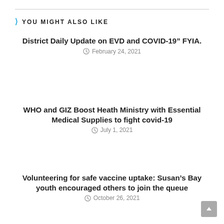YOU MIGHT ALSO LIKE
District Daily Update on EVD and COVID-19” FYIA.
February 24, 2021
WHO and GIZ Boost Heath Ministry with Essential Medical Supplies to fight covid-19
July 1, 2021
Volunteering for safe vaccine uptake: Susan’s Bay youth encouraged others to join the queue
October 26, 2021